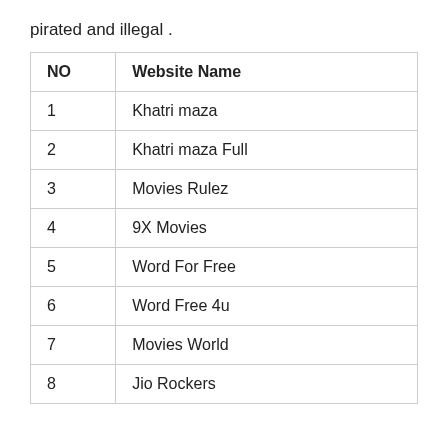pirated and illegal .
| NO | Website Name |
| --- | --- |
| 1 | Khatri maza |
| 2 | Khatri maza Full |
| 3 | Movies Rulez |
| 4 | 9X Movies |
| 5 | Word For Free |
| 6 | Word Free 4u |
| 7 | Movies World |
| 8 | Jio Rockers |